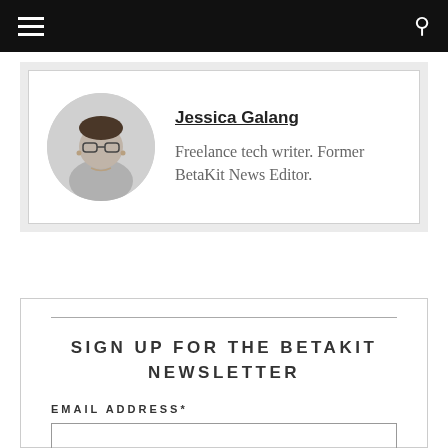Navigation bar with hamburger menu and search icon
[Figure (photo): Circular profile photo of Jessica Galang, a woman with glasses]
Jessica Galang
Freelance tech writer. Former BetaKit News Editor.
SIGN UP FOR THE BETAKIT NEWSLETTER
EMAIL ADDRESS*